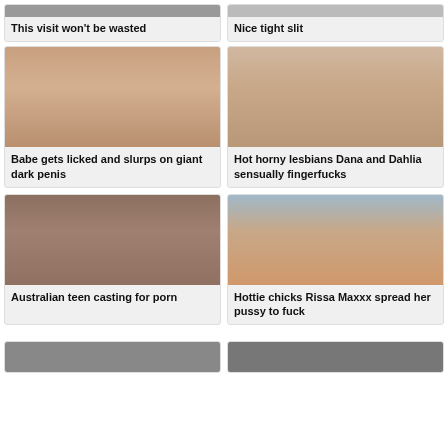[Figure (photo): Partial thumbnail at top - This visit won't be wasted]
This visit won't be wasted
[Figure (photo): Partial thumbnail at top - Nice tight slit]
Nice tight slit
[Figure (photo): Video thumbnail - Babe gets licked and slurps on giant dark penis]
Babe gets licked and slurps on giant dark penis
[Figure (photo): Video thumbnail - Hot horny lesbians Dana and Dahlia sensually fingerfucks]
Hot horny lesbians Dana and Dahlia sensually fingerfucks
[Figure (photo): Video thumbnail - Australian teen casting for porn]
Australian teen casting for porn
[Figure (photo): Video thumbnail - Hottie chicks Rissa Maxxx spread her pussy to fuck]
Hottie chicks Rissa Maxxx spread her pussy to fuck
[Figure (photo): Partial thumbnail at bottom left]
[Figure (photo): Partial thumbnail at bottom right]